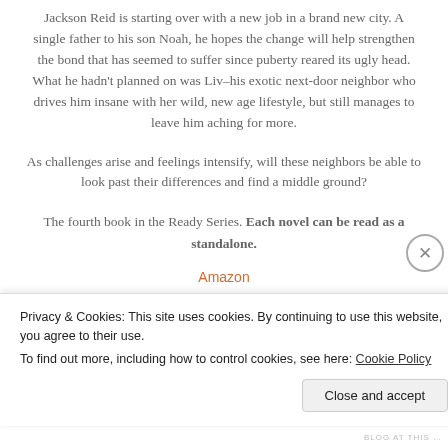Jackson Reid is starting over with a new job in a brand new city. A single father to his son Noah, he hopes the change will help strengthen the bond that has seemed to suffer since puberty reared its ugly head. What he hadn't planned on was Liv–his exotic next-door neighbor who drives him insane with her wild, new age lifestyle, but still manages to leave him aching for more.
As challenges arise and feelings intensify, will these neighbors be able to look past their differences and find a middle ground?
The fourth book in the Ready Series. Each novel can be read as a standalone.
Amazon
Privacy & Cookies: This site uses cookies. By continuing to use this website, you agree to their use.
To find out more, including how to control cookies, see here: Cookie Policy
Close and accept